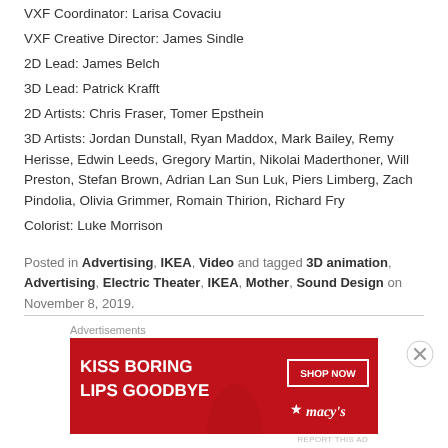VXF Coordinator: Larisa Covaciu
VXF Creative Director: James Sindle
2D Lead: James Belch
3D Lead: Patrick Krafft
2D Artists: Chris Fraser, Tomer Epsthein
3D Artists: Jordan Dunstall, Ryan Maddox, Mark Bailey, Remy Herisse, Edwin Leeds, Gregory Martin, Nikolai Maderthoner, Will Preston, Stefan Brown, Adrian Lan Sun Luk, Piers Limberg, Zach Pindolia, Olivia Grimmer, Romain Thirion, Richard Fry
Colorist: Luke Morrison
Posted in Advertising, IKEA, Video and tagged 3D animation, Advertising, Electric Theater, IKEA, Mother, Sound Design on November 8, 2019.
Advertisements
[Figure (other): Advertisement banner for Macy's: 'KISS BORING LIPS GOODBYE' with SHOP NOW button and Macy's logo with star]